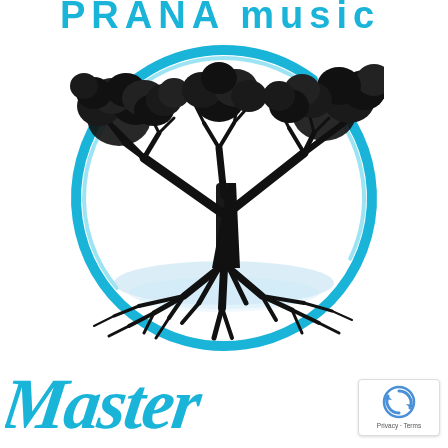[Figure (logo): PRANA music text logo in cyan/blue brush-style lettering at top of page, partially cropped]
[Figure (logo): Circular enso-style cyan brushstroke enclosing a black illustrated tree with exposed roots over light blue wavy ground, forming main logo mark]
[Figure (logo): Cursive script text 'Master' in cyan/blue at bottom left, partially cropped]
[Figure (logo): reCAPTCHA badge with rotating arrows icon and Privacy - Terms text at bottom right]